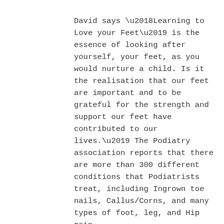David says ‘Learning to Love your Feet’ is the essence of looking after yourself, your feet, as you would nurture a child. Is it the realisation that our feet are important and to be grateful for the strength and support our feet have contributed to our lives.’ The Podiatry association reports that there are more than 300 different conditions that Podiatrists treat, including Ingrown toe nails, Callus/Corns, and many types of foot, leg, and Hip pain.
Daniel Lewis, who has worked at Kingston Beach as a Podiatrist for over 12 years, says ‘some people think pain in their feet is normal. It’s not true. One